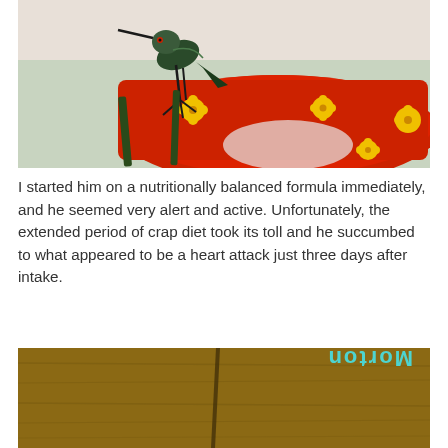[Figure (photo): A hummingbird perched on a red hummingbird feeder with yellow flower-shaped ports, viewed from above. The bird has dark greenish plumage and is gripping the feeder perch.]
I started him on a nutritionally balanced formula immediately, and he seemed very alert and active. Unfortunately, the extended period of crap diet took its toll and he succumbed to what appeared to be a heart attack just three days after intake.
[Figure (photo): A brown wooden background with the text 'Morton' written vertically in teal/cyan colored letters on the right side.]